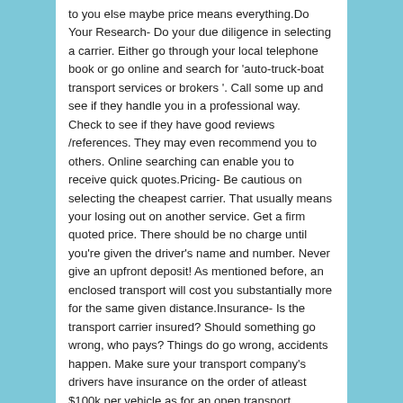to you else maybe price means everything.Do Your Research- Do your due diligence in selecting a carrier. Either go through your local telephone book or go online and search for 'auto-truck-boat transport services or brokers '. Call some up and see if they handle you in a professional way. Check to see if they have good reviews /references. They may even recommend you to others. Online searching can enable you to receive quick quotes.Pricing- Be cautious on selecting the cheapest carrier. That usually means your losing out on another service. Get a firm quoted price. There should be no charge until you're given the driver's name and number. Never give an upfront deposit! As mentioned before, an enclosed transport will cost you substantially more for the same given distance.Insurance- Is the transport carrier insured? Should something go wrong, who pays? Things do go wrong, accidents happen. Make sure your transport company's drivers have insurance on the order of atleast $100k per vehicle as for an open transport carrier.Delivery/Pickup Times- Here's a test to see if the transport carrier is for real. Typically a transport carrier